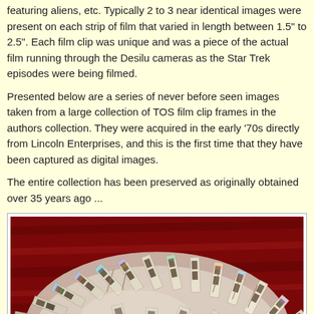featuring aliens, etc. Typically 2 to 3 near identical images were present on each strip of film that varied in length between 1.5" to 2.5". Each film clip was unique and was a piece of the actual film running through the Desilu cameras as the Star Trek episodes were being filmed.
Presented below are a series of never before seen images taken from a large collection of TOS film clip frames in the authors collection. They were acquired in the early '70s directly from Lincoln Enterprises, and this is the first time that they have been captured as digital images.
The entire collection has been preserved as originally obtained over 35 years ago ...
[Figure (photo): A photograph of a large collection of TOS (The Original Series) Star Trek film clip frames arranged in a fan/arc pattern, displayed on a red cloth background. The film strips appear to be clear/translucent with small image frames visible on each, spread out like a deck of cards in a circular arrangement.]